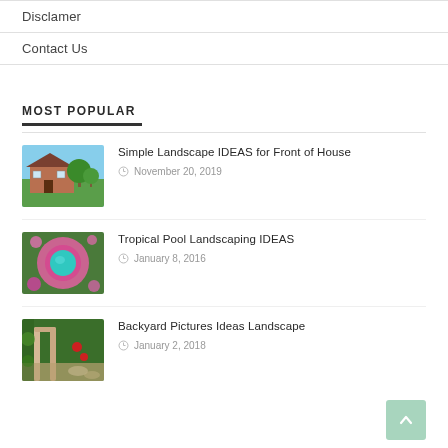Disclamer
Contact Us
MOST POPULAR
[Figure (photo): Brick house with green lawn and trees in front]
Simple Landscape IDEAS for Front of House
November 20, 2019
[Figure (photo): Aerial view of tropical pool surrounded by pink flowers]
Tropical Pool Landscaping IDEAS
January 8, 2016
[Figure (photo): Garden archway with plants and red flowers]
Backyard Pictures Ideas Landscape
January 2, 2018